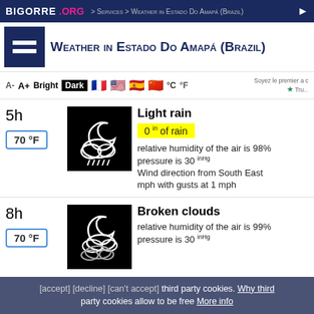BIGORRE .ORG > Services > Weather in Estado Do Amapá (Brazil)
Weather in Estado Do Amapá (Brazil)
A- A+ Bright Dark °C °F
5h
70 °F
Light rain
0 in of rain
relative humidity of the air is 98%
pressure is 30 inHg
Wind direction from South East mph with gusts at 1 mph
8h
70 °F
Broken clouds
relative humidity of the air is 99%
pressure is 30 inHg
Wind direction from North — mph with gusts at 1 mph
[accept] [decline] [can't accept] third party cookies. Why third party cookies allow to be free More info